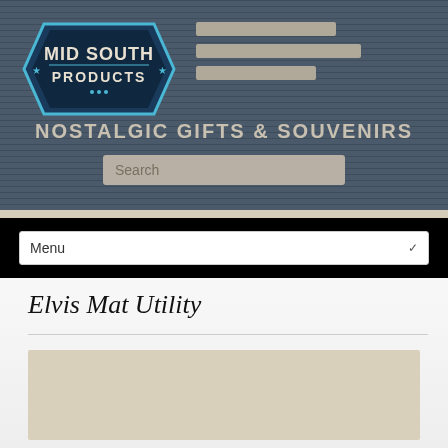[Figure (logo): Mid South Products logo — circular badge design with text 'MID SOUTH PRODUCTS' and stars, in blue and white on dark background]
NOSTALGIC GIFTS & SOUVENIRS
Search
Menu
Elvis Mat Utility
[Figure (photo): Product image placeholder — beige/tan colored rectangle]